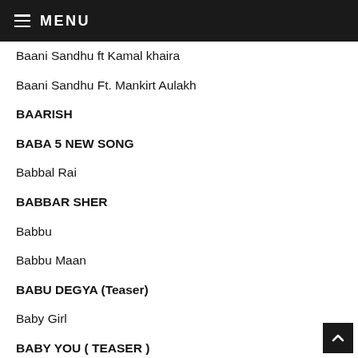MENU
Baani Sandhu ft Kamal khaira
Baani Sandhu Ft. Mankirt Aulakh
BAARISH
BABA 5 NEW SONG
Babbal Rai
BABBAR SHER
Babbu
Babbu Maan
BABU DEGYA (Teaser)
Baby Girl
BABY YOU ( TEASER )
BACHALO
Bachpan Wala Ghar